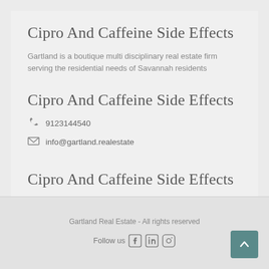Cipro And Caffeine Side Effects
Gartland is a boutique multi disciplinary real estate firm serving the residential needs of Savannah residents
Cipro And Caffeine Side Effects
9123144540
info@gartland.realestate
Cipro And Caffeine Side Effects
Gartland Real Estate - All rights reserved
Follow us